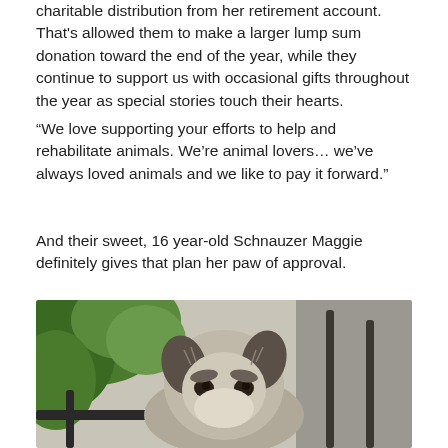charitable distribution from her retirement account. That's allowed them to make a larger lump sum donation toward the end of the year, while they continue to support us with occasional gifts throughout the year as special stories touch their hearts.
“We love supporting your efforts to help and rehabilitate animals. We’re animal lovers… we’ve always loved animals and we like to pay it forward.”
And their sweet, 16 year-old Schnauzer Maggie definitely gives that plan her paw of approval.
[Figure (photo): Close-up photo of a 16 year-old Schnauzer dog named Maggie, peering up over what appears to be outdoor furniture, with green foliage in the background.]